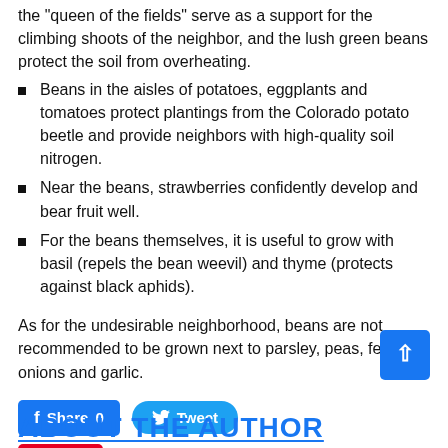the "queen of the fields" serve as a support for the climbing shoots of the neighbor, and the lush green beans protect the soil from overheating.
Beans in the aisles of potatoes, eggplants and tomatoes protect plantings from the Colorado potato beetle and provide neighbors with high-quality soil nitrogen.
Near the beans, strawberries confidently develop and bear fruit well.
For the beans themselves, it is useful to grow with basil (repels the bean weevil) and thyme (protects against black aphids).
As for the undesirable neighborhood, beans are not recommended to be grown next to parsley, peas, fennel, onions and garlic.
[Figure (other): Social sharing buttons: Facebook Share 0, Twitter Tweet, Pinterest Save, and a scroll-to-top button]
ABOUT THE AUTHOR